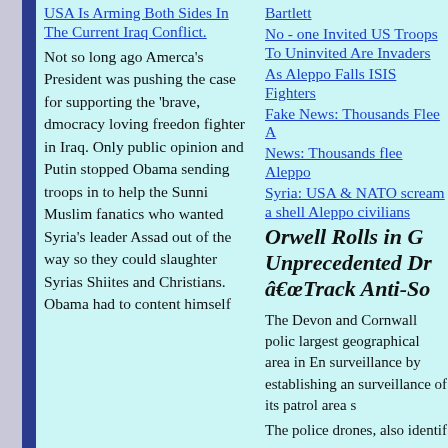USA Is Arming Both Sides In The Current Iraq Conflict.
Not so long ago Amerca's President was pushing the case for supporting the 'brave, dmocracy loving freedon fighter in Iraq. Only public opinion and Putin stopped Obama sending troops in to help the Sunni Muslim fanatics who wanted Syria's leader Assad out of the way so they could slaughter Syrias Shiites and Christians. Obama had to content himself...
Bartlett
No - one Invited US Troops To Uninvited Are Invaders
As Aleppo Falls ISIS Fighters
Fake News: Thousands Flee A
News: Thousands flee Aleppo
Syria: USA & NATO scream a shell Aleppo civilians
Orwell Rolls in G Unprecedented Dr â€œTrack Anti-So
The Devon and Cornwall polic largest geographical area in En surveillance by establishing an surveillance of its patrol area s
The police drones, also identif